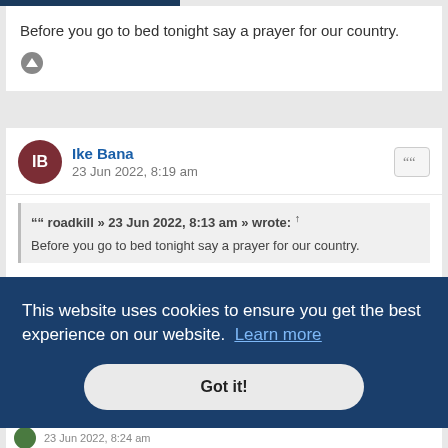Before you go to bed tonight say a prayer for our country.
Ike Bana
23 Jun 2022, 8:19 am
roadkill » 23 Jun 2022, 8:13 am » wrote: ↑
Before you go to bed tonight say a prayer for our country.
Well..I don't think you seditionists care much for what I'm praying for our country.
This website uses cookies to ensure you get the best experience on our website. Learn more
Got it!